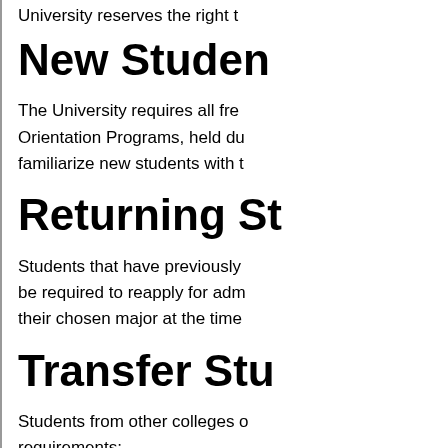University reserves the right t...
New Studen...
The University requires all fre... Orientation Programs, held du... familiarize new students with...
Returning St...
Students that have previously... be required to reapply for adm... their chosen major at the time...
Transfer Stu...
Students from other colleges... requirements:
1. Transfer applicants with ... from all institutions previ...
2. Transfer applicants with ... and all college transcript...
3. Immunization record requ...